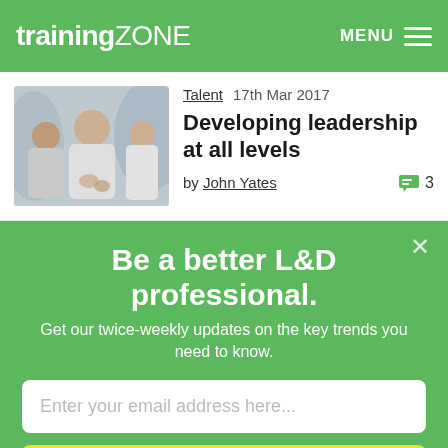trainingZONE | MENU
[Figure (photo): Group of people in a training/meeting session, blurred background, seen from behind/side]
Talent  17th Mar 2017
Developing leadership at all levels
by John Yates   3
×
Be a better L&D professional.
Get our twice-weekly updates on the key trends you need to know.
Enter your email address here...
Sign Up